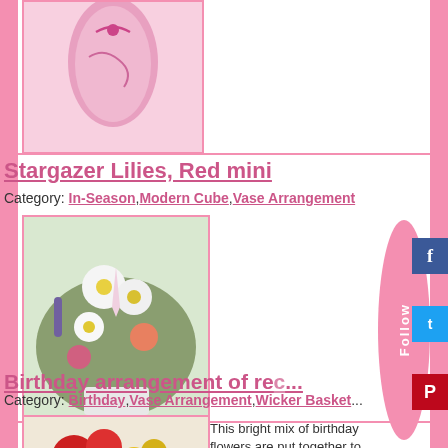[Figure (photo): Pink vase with flowers (partially visible at top)]
Stargazer Lilies, Red mini
Category: In-Season, Modern Cube, Vase Arrangement
[Figure (photo): Colorful flower arrangement with daisies, lilies, and mixed flowers]
Birthday arrangement of red...
Category: Birthday, Vase Arrangement, Wicker Basket...
[Figure (photo): Birthday arrangement with red carnations and yellow flowers]
This bright mix of birthday flowers are put together to wish that special person! 412-828-5777